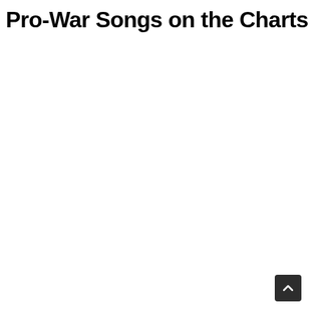Pro-War Songs on the Charts
[Figure (other): Scroll-to-top button with upward chevron arrow, dark background, rounded corners, positioned at bottom-right corner of the page]